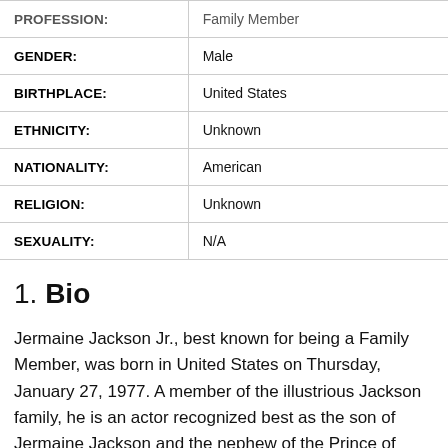| PROFESSION: | Family Member |
| GENDER: | Male |
| BIRTHPLACE: | United States |
| ETHNICITY: | Unknown |
| NATIONALITY: | American |
| RELIGION: | Unknown |
| SEXUALITY: | N/A |
1. Bio
Jermaine Jackson Jr., best known for being a Family Member, was born in United States on Thursday, January 27, 1977. A member of the illustrious Jackson family, he is an actor recognized best as the son of Jermaine Jackson and the nephew of the Prince of Pop, Michael Jackson.